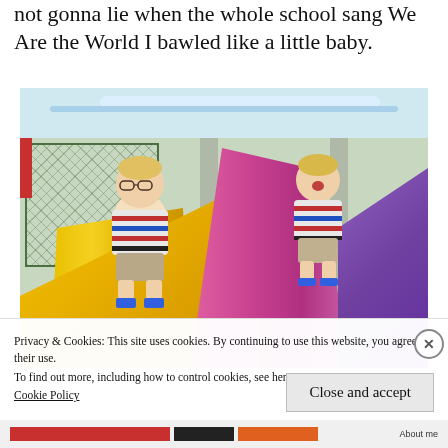not gonna lie when the whole school sang We Are the World I bawled like a little baby.
[Figure (photo): Two young boys in matching striped shirts playing on indoor playground slides — one on a yellow slide, one on a pink/purple slide. Indoor play centre setting with coloured structures.]
Privacy & Cookies: This site uses cookies. By continuing to use this website, you agree to their use.
To find out more, including how to control cookies, see here:
Cookie Policy
Close and accept